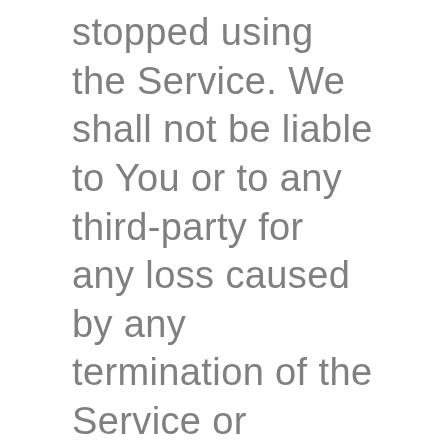stopped using the Service. We shall not be liable to You or to any third-party for any loss caused by any termination of the Service or termination of Your access to the Service and any Customer Data, including any damage or loss to any data, computers, systems, or networks. We may elect to terminate these Terms at any time in addition to any other remedy We may have under these Terms due to any breach by You of any term